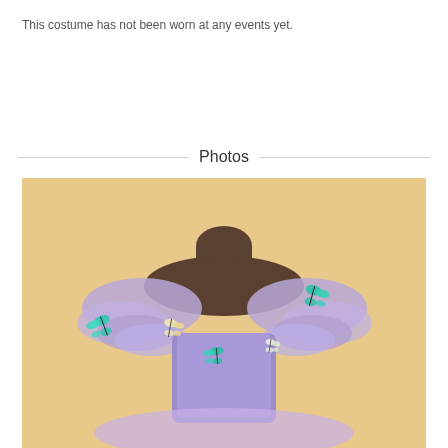This costume has not been worn at any events yet.
Photos
[Figure (photo): A lavender/purple ballet tutu costume displayed on a dark mannequin torso against a beige/peach background. The dress features off-shoulder sleeves made of light purple organza fabric adorned with teal/turquoise butterfly decorations. The bodice is light purple/lavender.]